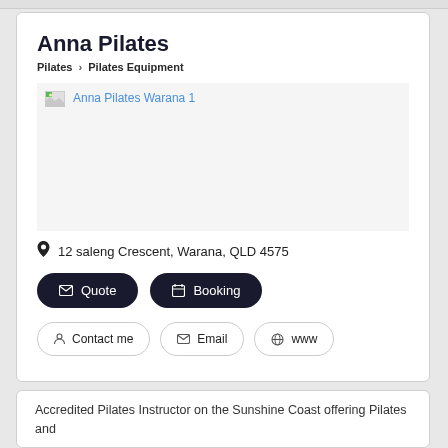Anna Pilates
Pilates > Pilates Equipment
[Figure (photo): Placeholder image for Anna Pilates Warana 1 — broken image icon with link text 'Anna Pilates Warana 1']
12 saleng Crescent, Warana, QLD 4575
Quote   Booking
Contact me   Email   www
Accredited Pilates Instructor on the Sunshine Coast offering Pilates and